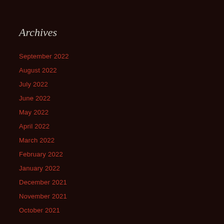Archives
September 2022
August 2022
July 2022
June 2022
May 2022
April 2022
March 2022
February 2022
January 2022
December 2021
November 2021
October 2021